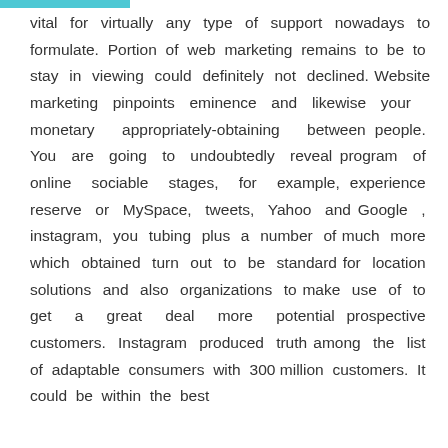vital for virtually any type of support nowadays to formulate. Portion of web marketing remains to be to stay in viewing could definitely not declined. Website marketing pinpoints eminence and likewise your monetary appropriately-obtaining between people. You are going to undoubtedly reveal program of online sociable stages, for example, experience reserve or MySpace, tweets, Yahoo and Google , instagram, you tubing plus a number of much more which obtained turn out to be standard for location solutions and also organizations to make use of to get a great deal more potential prospective customers. Instagram produced truth among the list of adaptable consumers with 300 million customers. It could be within the best